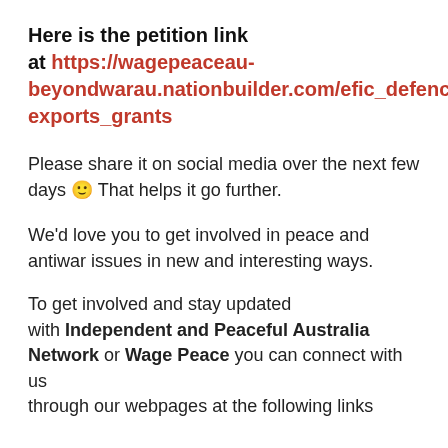Here is the petition link at https://wagepeaceau-beyondwarau.nationbuilder.com/efic_defence exports_grants
Please share it on social media over the next few days 🙂 That helps it go further.
We'd love you to get involved in peace and antiwar issues in new and interesting ways.
To get involved and stay updated with Independent and Peaceful Australia Network or Wage Peace you can connect with us through our webpages at the following links